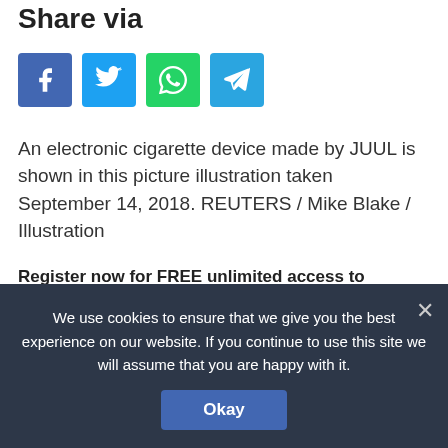Share via
[Figure (infographic): Four social sharing buttons: Facebook (blue), Twitter (light blue), WhatsApp (green), Telegram (blue)]
An electronic cigarette device made by JUUL is shown in this picture illustration taken September 14, 2018. REUTERS / Mike Blake / Illustration
Register now for FREE unlimited access to Reuters.com
Register
We use cookies to ensure that we give you the best experience on our website. If you continue to use this site we will assume that you are happy with it.
Okay